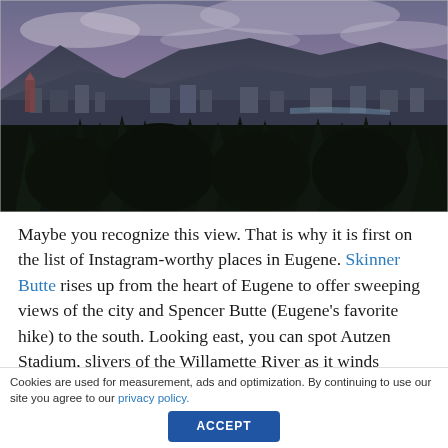[Figure (photo): Aerial/elevated view of Eugene, Oregon at dusk with dark evergreen trees in the foreground, city buildings in the mid-ground, and mountains with a cloudy purple-pink sky in the background.]
Maybe you recognize this view. That is why it is first on the list of Instagram-worthy places in Eugene. Skinner Butte rises up from the heart of Eugene to offer sweeping views of the city and Spencer Butte (Eugene's favorite hike) to the south. Looking east, you can spot Autzen Stadium, slivers of the Willamette River as it winds through town as
Cookies are used for measurement, ads and optimization. By continuing to use our site you agree to our privacy policy. ACCEPT